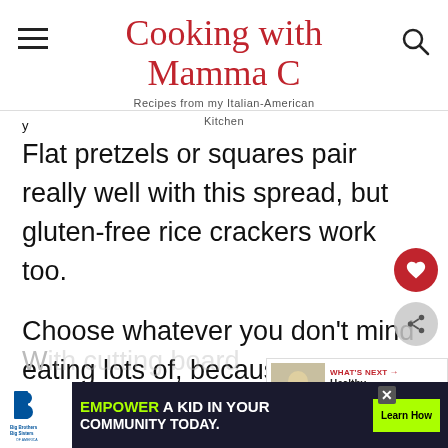Cooking with Mamma C — Recipes from my Italian-American Kitchen
Flat pretzels or squares pair really well with this spread, but gluten-free rice crackers work too.
Choose whatever you don't mind eating lots of, because this butter pecan cheese log is absolutely divine. I haven't eaten so much during a photo shoot since that time I made
[Figure (screenshot): What's Next widget showing 'Healthy Peanut Butt...' with a food thumbnail image]
[Figure (screenshot): Advertisement banner: Big Brothers Big Sisters logo, 'EMPOWER A KID IN YOUR COMMUNITY TODAY.' with Learn How button]